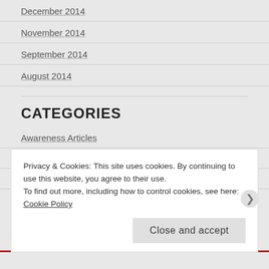December 2014
November 2014
September 2014
August 2014
CATEGORIES
Awareness Articles
Inspirational Reading
It's Your Divine Destiny Radio
Privacy & Cookies: This site uses cookies. By continuing to use this website, you agree to their use.
To find out more, including how to control cookies, see here: Cookie Policy
Close and accept